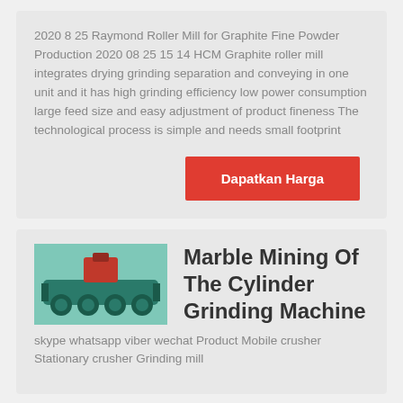2020 8 25 Raymond Roller Mill for Graphite Fine Powder Production 2020 08 25 15 14 HCM Graphite roller mill integrates drying grinding separation and conveying in one unit and it has high grinding efficiency low power consumption large feed size and easy adjustment of product fineness The technological process is simple and needs small footprint
Dapatkan Harga
[Figure (photo): Photo of a green industrial grinding machine (cylinder grinding machine) with multiple rollers]
Marble Mining Of The Cylinder Grinding Machine
skype whatsapp viber wechat Product Mobile crusher Stationary crusher Grinding mill